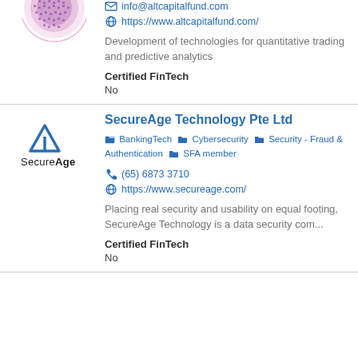[Figure (logo): Partial logo at top of page (purple/pink circular icon, partially cropped)]
info@altcapitalfund.com
https://www.altcapitalfund.com/
Development of technologies for quantitative trading and predictive analytics
Certified FinTech
No
[Figure (logo): SecureAge logo with triangle/arrow icon and text 'SecureAge']
SecureAge Technology Pte Ltd
BankingTech  Cybersecurity  Security - Fraud & Authentication  SFA member
(65) 6873 3710
https://www.secureage.com/
Placing real security and usability on equal footing, SecureAge Technology is a data security com...
Certified FinTech
No